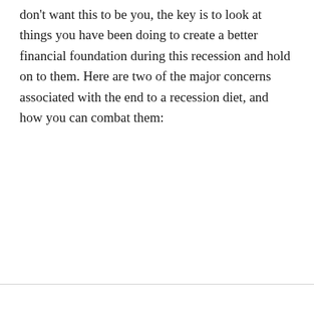don't want this to be you, the key is to look at things you have been doing to create a better financial foundation during this recession and hold on to them. Here are two of the major concerns associated with the end to a recession diet, and how you can combat them: